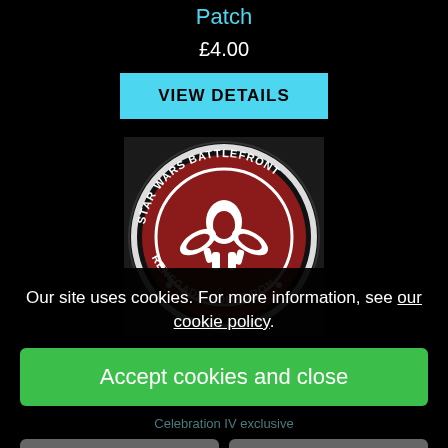Patch
£4.00
VIEW DETAILS
[Figure (photo): Star Wars Battlefront Renegade Squadron embroidered patch — circular design with red Rebel Alliance symbol on dark background, white border text reading 'STAR WARS BATTLEFRONT' and 'RENEGADE SQUADRON']
Our site uses cookies. For more information, see our cookie policy.
Accept cookies and close
Reject cookies
Manage settings
Star Wars
Celebration IV exclusive
£4.00